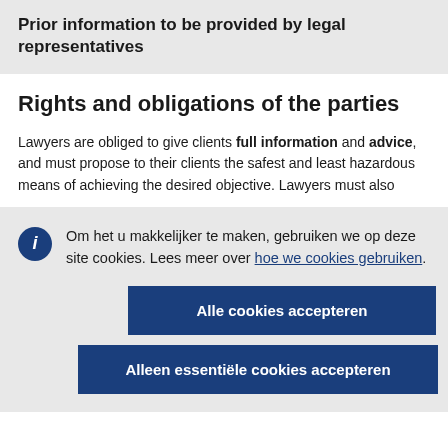Prior information to be provided by legal representatives
Rights and obligations of the parties
Lawyers are obliged to give clients full information and advice, and must propose to their clients the safest and least hazardous means of achieving the desired objective. Lawyers must also
Om het u makkelijker te maken, gebruiken we op deze site cookies. Lees meer over hoe we cookies gebruiken.
Alle cookies accepteren
Alleen essentiële cookies accepteren